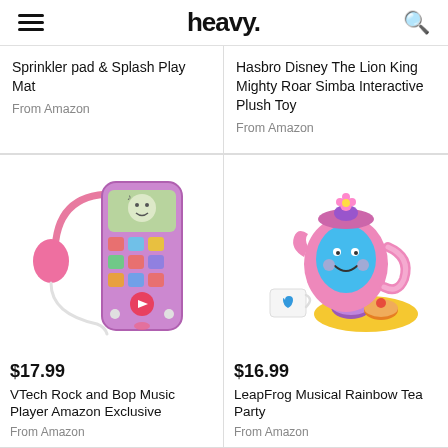heavy.
Sprinkler pad & Splash Play Mat
From Amazon
Hasbro Disney The Lion King Mighty Roar Simba Interactive Plush Toy
From Amazon
[Figure (photo): VTech Rock and Bop Music Player with pink headphones]
$17.99
VTech Rock and Bop Music Player Amazon Exclusive
From Amazon
[Figure (photo): LeapFrog Musical Rainbow Tea Party set with teapot, cup, and sweets]
$16.99
LeapFrog Musical Rainbow Tea Party
From Amazon